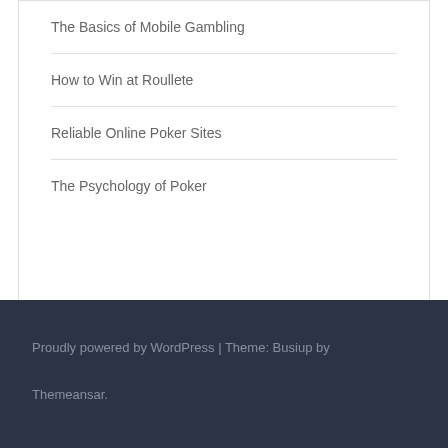The Basics of Mobile Gambling
How to Win at Roullete
Reliable Online Poker Sites
The Psychology of Poker
Proudly powered by WordPress | Theme: Busiup by Themeansar.